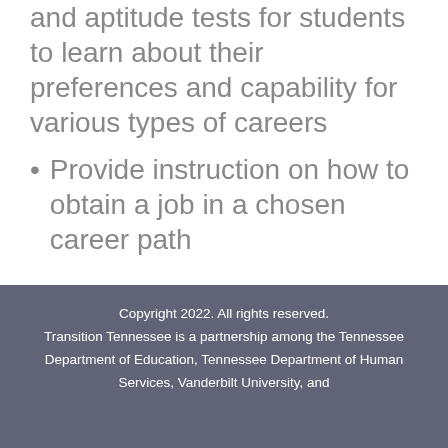and aptitude tests for students to learn about their preferences and capability for various types of careers
Provide instruction on how to obtain a job in a chosen career path
Copyright 2022. All rights reserved.

Transition Tennessee is a partnership among the Tennessee Department of Education, Tennessee Department of Human Services, Vanderbilt University, and